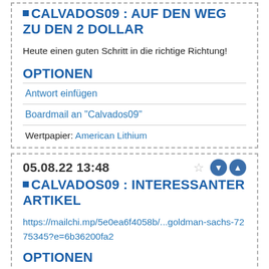◻ CALVADOS09 : AUF DEN WEG ZU DEN 2 DOLLAR
Heute einen guten Schritt in die richtige Richtung!
OPTIONEN
Antwort einfügen
Boardmail an "Calvados09"
Wertpapier: American Lithium
05.08.22 13:48
◻ CALVADOS09 : INTERESSANTER ARTIKEL
https://mailchi.mp/5e0ea6f4058b/...goldman-sachs-7275345?e=6b36200fa2
OPTIONEN